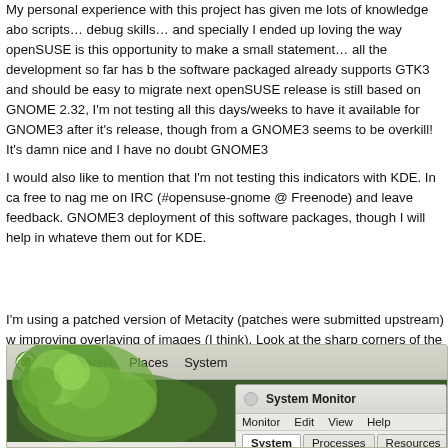My personal experience with this project has given me lots of knowledge about scripts… debug skills… and specially I ended up loving the way openSUSE is this opportunity to make a small statement… all the development so far has b the software packaged already supports GTK3 and should be easy to migrate next openSUSE release is still based on GNOME 2.32, I'm not testing all this days/weeks to have it available for GNOME3 after it's release, though from a GNOME3 seems to be overkill! It's damn nice and I have no doubt GNOME3
I would also like to mention that I'm not testing this indicators with KDE. In ca free to nag me on IRC (#opensuse-gnome @ Freenode) and leave feedback. GNOME3 deployment of this software packages, though I will help in whateve them out for KDE.
I'm using a patched version of Metacity (patches were submitted upstream) w improving overlaying of images (I think). Look at the sharp corners of the them Icon theme with Canonical's light theme Radiance (not hacked). This is anoth soon.
[Figure (screenshot): Screenshot of an openSUSE GNOME desktop showing a taskbar with Applications, Places, System menus and openSUSE logo, a green desktop background, and a System Monitor window with Monitor, Edit, View, Help menus and System, Processes, Resources, File System tabs.]